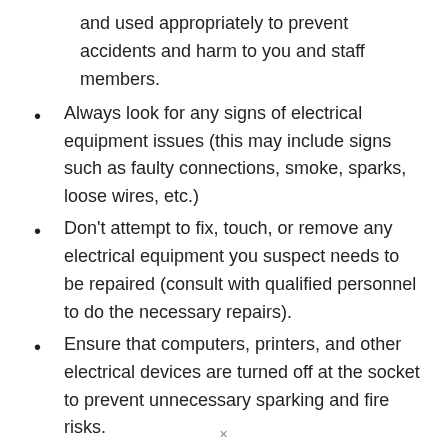and used appropriately to prevent accidents and harm to you and staff members.
Always look for any signs of electrical equipment issues (this may include signs such as faulty connections, smoke, sparks, loose wires, etc.)
Don't attempt to fix, touch, or remove any electrical equipment you suspect needs to be repaired (consult with qualified personnel to do the necessary repairs).
Ensure that computers, printers, and other electrical devices are turned off at the socket to prevent unnecessary sparking and fire risks.
Ensure that the socket outlet is never
×